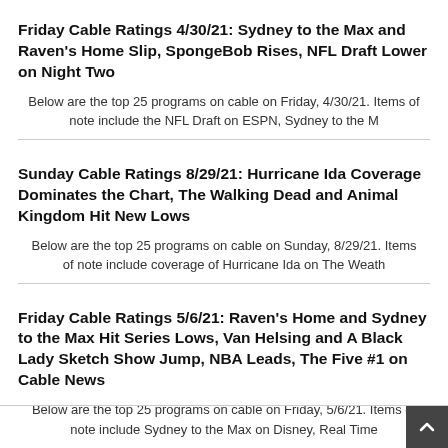Friday Cable Ratings 4/30/21: Sydney to the Max and Raven’s Home Slip, SpongeBob Rises, NFL Draft Lower on Night Two
Below are the top 25 programs on cable on Friday, 4/30/21. Items of note include the NFL Draft on ESPN, Sydney to the M
Sunday Cable Ratings 8/29/21: Hurricane Ida Coverage Dominates the Chart, The Walking Dead and Animal Kingdom Hit New Lows
Below are the top 25 programs on cable on Sunday, 8/29/21. Items of note include coverage of Hurricane Ida on The Weath
Friday Cable Ratings 5/6/21: Raven’s Home and Sydney to the Max Hit Series Lows, Van Helsing and A Black Lady Sketch Show Jump, NBA Leads, The Five #1 on Cable News
Below are the top 25 programs on cable on Friday, 5/6/21. Items of note include Sydney to the Max on Disney, Real Time